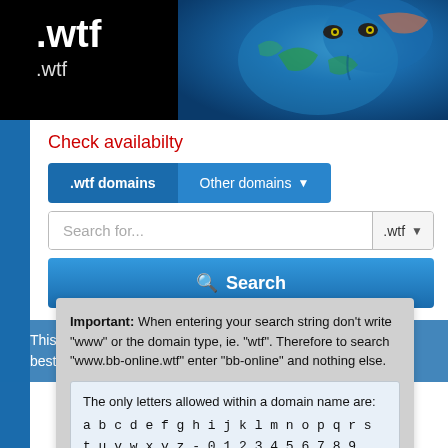[Figure (illustration): Banner with .wtf domain branding: black background with large .wtf text in white on the left, and a face painted with a world map on the right in blue tones.]
Check availabilty
.wtf domains | Other domains
Search for... .wtf
Search
This website uses cookies to ensure you get the best experience on our website. Got it Cookies
Important: When entering your search string don't write "www" or the domain type, ie. "wtf". Therefore to search "www.bb-online.wtf" enter "bb-online" and nothing else.
The only letters allowed within a domain name are: a b c d e f g h i j k l m n o p q r s t u v w x y z - 0 1 2 3 4 5 6 7 8 9. Spaces are NOT ALLOWED.